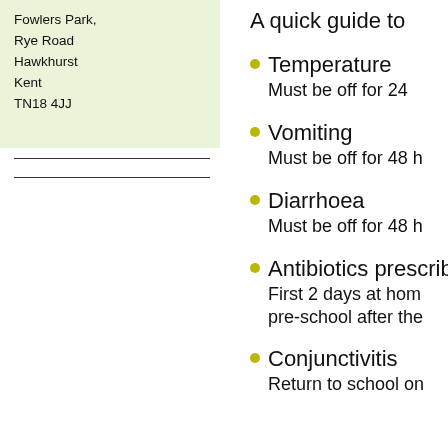Fowlers Park,
Rye Road
Hawkhurst
Kent
TN18 4JJ
A quick guide to
Temperature
Must be off for 24
Vomiting
Must be off for 48 h
Diarrhoea
Must be off for 48 h
Antibiotics prescribed
First 2 days at home
pre-school after the
Conjunctivitis
Return to school on